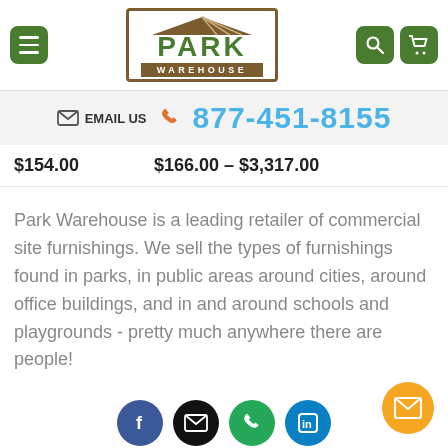[Figure (logo): Park Warehouse logo with green PARK text and brown WAREHOUSE label, roof-shaped top]
EMAIL US  877-451-8155
$154.00   $166.00 – $3,317.00
Park Warehouse is a leading retailer of commercial site furnishings. We sell the types of furnishings found in parks, in public areas around cities, around office buildings, and in and around schools and playgrounds - pretty much anywhere there are people!
[Figure (infographic): Four social media / contact icons: Facebook (blue circle), Email (black circle), Phone (green circle), LinkedIn (blue circle)]